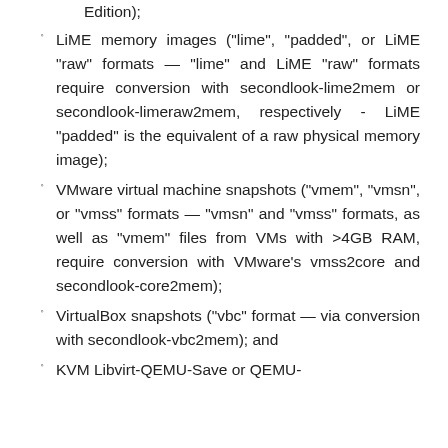Edition);
LiME memory images ("lime", "padded", or LiME "raw" formats — "lime" and LiME "raw" formats require conversion with secondlook-lime2mem or secondlook-limeraw2mem, respectively - LiME "padded" is the equivalent of a raw physical memory image);
VMware virtual machine snapshots ("vmem", "vmsn", or "vmss" formats — "vmsn" and "vmss" formats, as well as "vmem" files from VMs with >4GB RAM, require conversion with VMware's vmss2core and secondlook-core2mem);
VirtualBox snapshots ("vbc" format — via conversion with secondlook-vbc2mem); and
KVM Libvirt-QEMU-Save or QEMU-